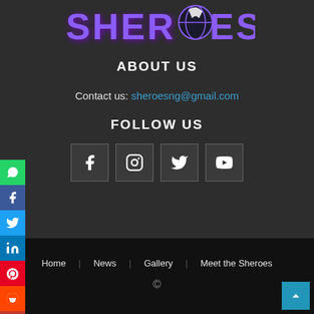[Figure (logo): SHEROES logo in purple stylized text with a globe/woman icon in the O]
ABOUT US
Contact us: sheroesng@gmail.com
FOLLOW US
[Figure (infographic): Four social media icon buttons: Facebook, Instagram, Twitter, YouTube]
Home   News   Gallery   Meet the Sheroes   ©